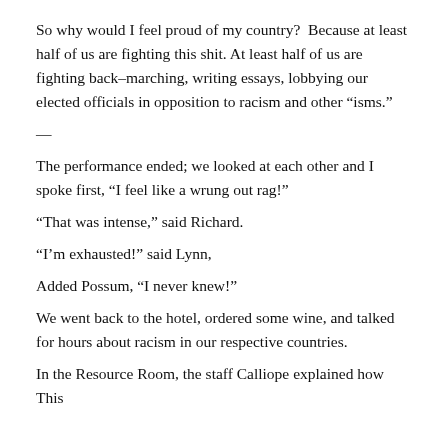So why would I feel proud of my country?  Because at least half of us are fighting this shit. At least half of us are fighting back–marching, writing essays, lobbying our elected officials in opposition to racism and other “isms.”
—
The performance ended; we looked at each other and I spoke first, “I feel like a wrung out rag!”
“That was intense,” said Richard.
“I’m exhausted!” said Lynn,
Added Possum, “I never knew!”
We went back to the hotel, ordered some wine, and talked for hours about racism in our respective countries.
In the Resource Room, the staff Calliope explained how This